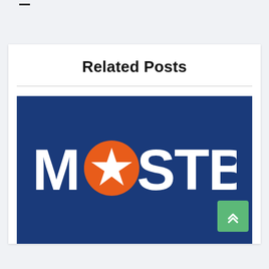Related Posts
[Figure (logo): Mostbet logo — white bold text 'MOSTBET' with an orange circle containing a white star replacing the letter O, on a dark blue background]